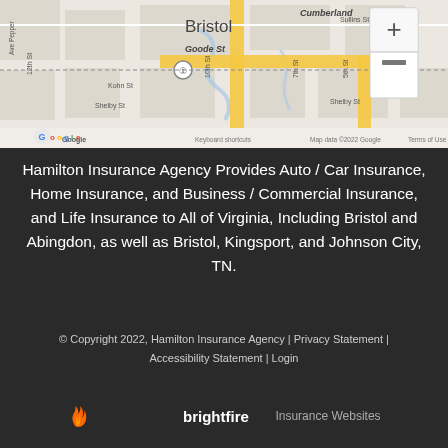[Figure (map): Google Maps street map showing Bristol area with streets including Cumberland, Goode St, Sullins St, Kohn St, Shelby St, 12th St, 10th St, 7th St, 5th St, Lee St. Yellow highlighted roads visible. Map controls with + and - zoom buttons. Shows 'Bristol' label. Google logo and attribution visible at bottom: Keyboard shortcuts, Map data ©2022 Google, Terms of Use.]
Hamilton Insurance Agency Provides Auto / Car Insurance, Home Insurance, and Business / Commercial Insurance, and Life Insurance to All of Virginia, Including Bristol and Abingdon, as well as Bristol, Kingsport, and Johnson City, TN.
© Copyright 2022, Hamilton Insurance Agency | Privacy Statement | Accessibility Statement | Login
[Figure (logo): BrightFire logo with flame icon followed by 'brightfire' text in white, and 'Insurance Websites' text in gray]